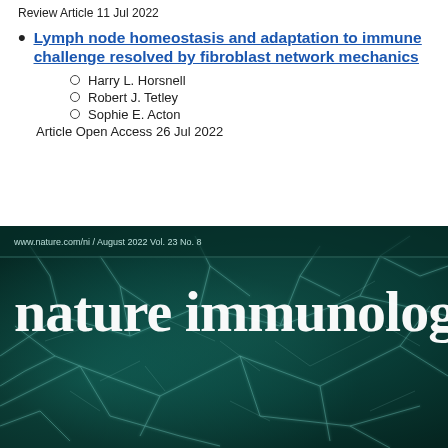Review Article 11 Jul 2022
Lymph node homeostasis and adaptation to immune challenge resolved by fibroblast network mechanics
Harry L. Horsnell
Robert J. Tetley
Sophie E. Acton
Article Open Access 26 Jul 2022
[Figure (photo): Cover of Nature Immunology journal, August 2022 Vol. 23 No. 8. Dark teal/green background with white network-like fibroblast structures. Journal name 'nature immunology' in large white serif font. URL www.nature.com/ni shown at top.]